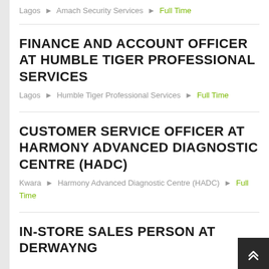Lagos ▸ Amach Security Services ▸ Full Time
FINANCE AND ACCOUNT OFFICER AT HUMBLE TIGER PROFESSIONAL SERVICES
Lagos ▸ Humble Tiger Professional Services ▸ Full Time
CUSTOMER SERVICE OFFICER AT HARMONY ADVANCED DIAGNOSTIC CENTRE (HADC)
Kwara ▸ Harmony Advanced Diagnostic Centre (HADC) ▸ Full Time
IN-STORE SALES PERSON AT DERWAYNG